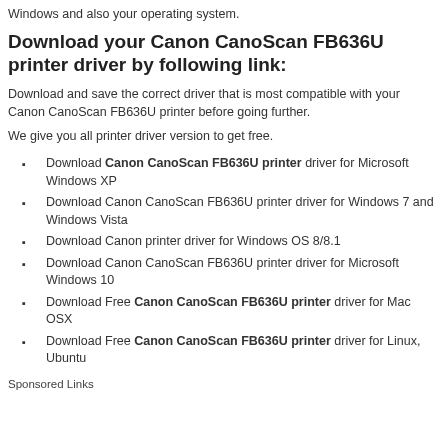Windows and also your operating system.
Download your Canon CanoScan FB636U printer driver by following link:
Download and save the correct driver that is most compatible with your Canon CanoScan FB636U printer before going further.
We give you all printer driver version to get free.
Download Canon CanoScan FB636U printer driver for Microsoft Windows XP
Download Canon CanoScan FB636U printer driver for Windows 7 and Windows Vista
Download Canon printer driver for Windows OS 8/8.1
Download Canon CanoScan FB636U printer driver for Microsoft Windows 10
Download Free Canon CanoScan FB636U printer driver for Mac OSX
Download Free Canon CanoScan FB636U printer driver for Linux, Ubuntu
Sponsored Links